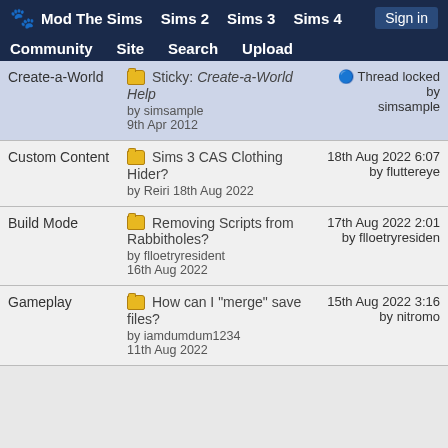Mod The Sims | Sims 2 | Sims 3 | Sims 4 | Sign in | Community | Site | Search | Upload
| Category | Thread | Last Post |
| --- | --- | --- |
| Create-a-World | Sticky: Create-a-World Help
by simsample
9th Apr 2012 | Thread locked by simsample |
| Custom Content | Sims 3 CAS Clothing Hider?
by Reiri 18th Aug 2022 | 18th Aug 2022 6:07
by fluttereye |
| Build Mode | Removing Scripts from Rabbitholes?
by flloetryresident
16th Aug 2022 | 17th Aug 2022 2:01
by flloetryresident |
| Gameplay | How can I "merge" save files?
by iamdumdum1234
11th Aug 2022 | 15th Aug 2022 3:16
by nitromo |